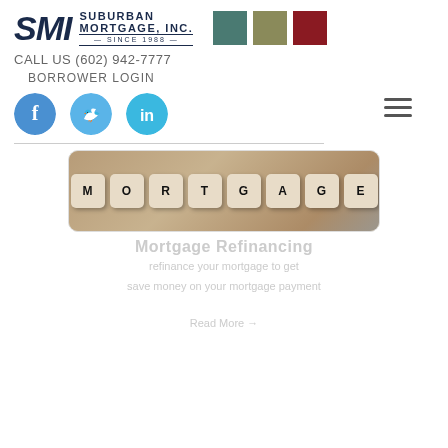[Figure (logo): SMI Suburban Mortgage, Inc. Since 1988 logo with three color squares (teal, olive, crimson)]
CALL US (602) 942-7777
BORROWER LOGIN
[Figure (illustration): Social media icons: Facebook, Twitter, LinkedIn circles, and a hamburger menu icon]
[Figure (photo): Wooden letter dice spelling MORTGAGE on currency background]